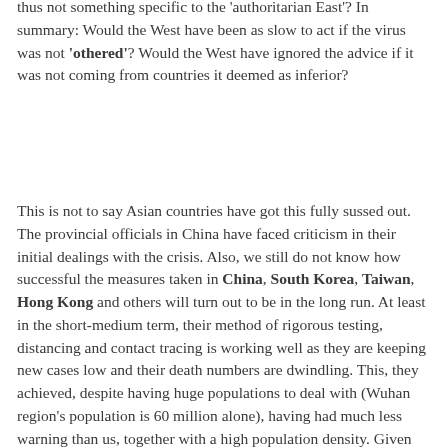thus not something specific to the 'authoritarian East'? In summary: Would the West have been as slow to act if the virus was not 'othered'? Would the West have ignored the advice if it was not coming from countries it deemed as inferior?
This is not to say Asian countries have got this fully sussed out. The provincial officials in China have faced criticism in their initial dealings with the crisis. Also, we still do not know how successful the measures taken in China, South Korea, Taiwan, Hong Kong and others will turn out to be in the long run. At least in the short‑medium term, their method of rigorous testing, distancing and contact tracing is working well as they are keeping new cases low and their death numbers are dwindling. This, they achieved, despite having huge populations to deal with (Wuhan region's population is 60 million alone), having had much less warning than us, together with a high population density. Given their serious warnings, it is surprising that the UK government did not give a serious consideration to their approaches and listened to their explicit cautions from January 2020. Even today, the